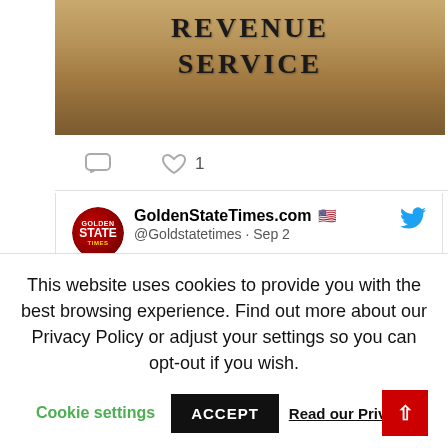[Figure (photo): Close-up photo of carved stone or building facade with text 'REVENUE SERVICE' engraved, tan/golden stone color]
○  ♡ 1
[Figure (screenshot): Tweet card from GoldenStateTimes.com @Goldstatetimes dated Sep 2 with text: #BREAKING: Biden's IRS Exposed Taxpayer Data on Website!... Read the complete story:]
This website uses cookies to provide you with the best browsing experience. Find out more about our Privacy Policy or adjust your settings so you can opt-out if you wish.
Cookie settings  ACCEPT  Read our Privacy P  ▲